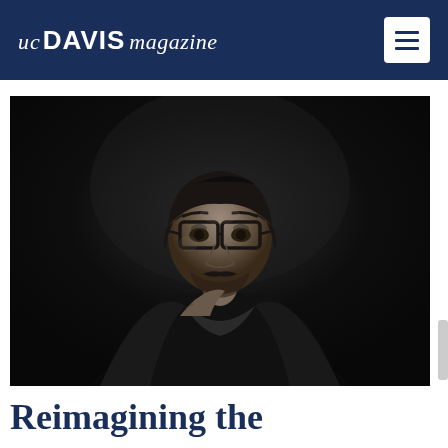UC DAVIS magazine
[Figure (photo): Black and white portrait of a young man wearing glasses and a leather jacket, leaning forward slightly, with a dark background]
Reimagining the